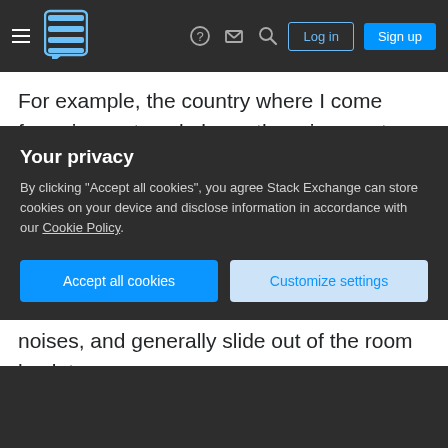Stack Exchange navigation bar with Log in and Sign up buttons
For example, the country where I come from, in most workplaces there is a custom to group up and congratulate coworkers on their birthday during work time (heh, American managers, I imagine, would largely go nuts reading this), whereas the greeted person offers some small cake or biscuits. These are social functions that can take anywhere from 15mins to an hour or so (and, yes, management generally recognizes this custom and participates).
Now, if the team is small and closely knit together
Your privacy
By clicking "Accept all cookies", you agree Stack Exchange can store cookies on your device and disclose information in accordance with our Cookie Policy.
Accept all cookies
Customize settings
noises, and generally slide out of the room back to